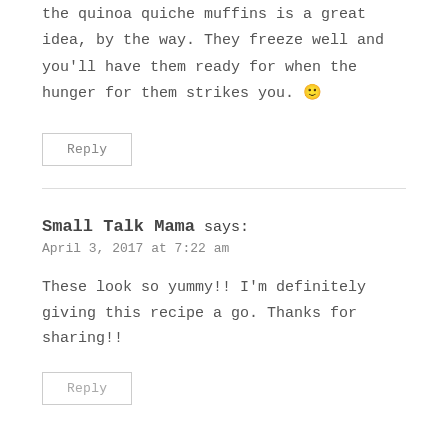the quinoa quiche muffins is a great idea, by the way. They freeze well and you'll have them ready for when the hunger for them strikes you. 🙂
Reply
Small Talk Mama says:
April 3, 2017 at 7:22 am
These look so yummy!! I'm definitely giving this recipe a go. Thanks for sharing!!
Reply